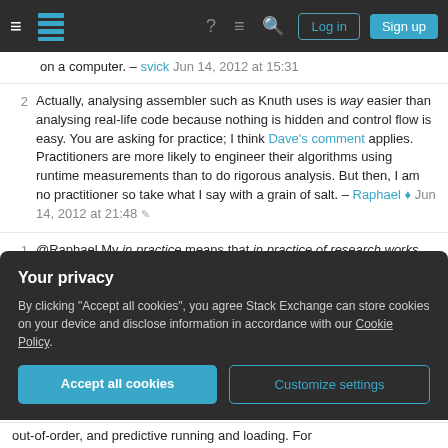Stack Exchange navigation bar with Log in and Sign up buttons
on a computer. – svick Jun 14, 2012 at 15:31
2 Actually, analysing assembler such as Knuth uses is way easier than analysing real-life code because nothing is hidden and control flow is easy. You are asking for practice; I think Dave's comment applies. Practitioners are more likely to engineer their algorithms using runtime measurements than to do rigorous analysis. But then, I am no practitioner so take what I say with a grain of salt. – Raphael ♦ Jun 14, 2012 at 21:48
1 @Raphael My in practice means that in practice of research works, not programming. – Yai0Phah Jun
Your privacy
By clicking "Accept all cookies", you agree Stack Exchange can store cookies on your device and disclose information in accordance with our Cookie Policy.
Accept all cookies | Customize settings
out-of-order, and predictive running and loading. For